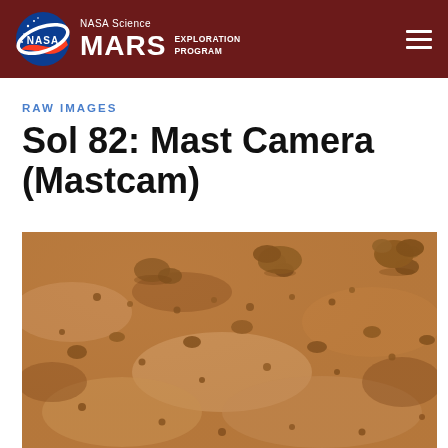NASA Science MARS EXPLORATION PROGRAM
RAW IMAGES
Sol 82: Mast Camera (Mastcam)
[Figure (photo): Mars surface raw image from Mastcam on Sol 82, showing reddish-brown rocky Martian terrain with small rocks and pebbles scattered across sandy soil.]